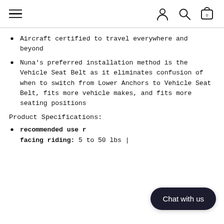Navigation header with hamburger menu, user/account icon, search icon, and cart icon with badge 0
Aircraft certified to travel everywhere and beyond
Nuna's preferred installation method is the Vehicle Seat Belt as it eliminates confusion of when to switch from Lower Anchors to Vehicle Seat Belt, fits more vehicle makes, and fits more seating positions
Product Specifications:
recommended use r facing riding: 5 to 50 lbs |